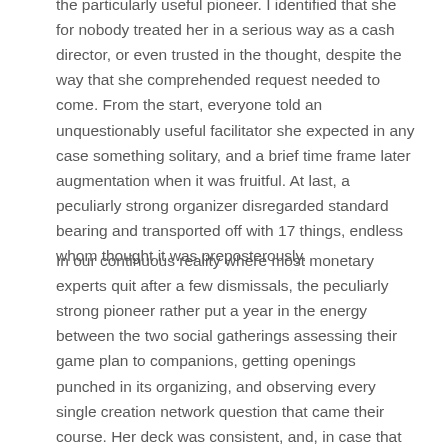the particularly useful pioneer. I identified that she for nobody treated her in a serious way as a cash director, or even trusted in the thought, despite the way that she comprehended request needed to come. From the start, everyone told an unquestionably useful facilitator she expected in any case something solitary, and a brief time frame later augmentation when it was fruitful. At last, a peculiarly strong organizer disregarded standard bearing and transported off with 17 things, endless whom thought it was preposterously.
In our continuous reality where most monetary experts quit after a few dismissals, the peculiarly strong pioneer rather put a year in the energy between the two social gatherings assessing their game plan to companions, getting openings punched in its organizing, and observing every single creation network question that came their course. Her deck was consistent, and, in case that wasn't by sufficiently then, her future financial support required the thing, as well.